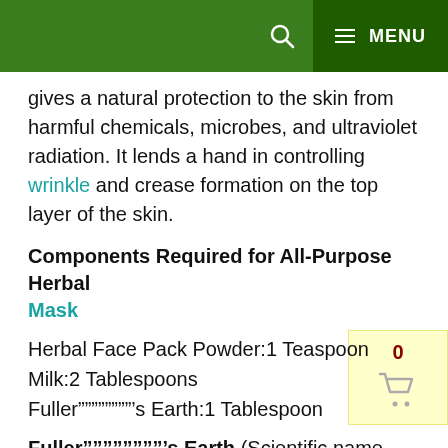MENU
gives a natural protection to the skin from harmful chemicals, microbes, and ultraviolet radiation. It lends a hand in controlling wrinkle and crease formation on the top layer of the skin.
Components Required for All-Purpose Herbal Mask
Herbal Face Pack Powder:1 Teaspoon
Milk:2 Tablespoons
Fuller""""""""’s Earth:1 Tablespoon
Fuller""""""""’s Earth (Scientific name – Curcuma Longa) is also called as Multani Methi. It makes the skin